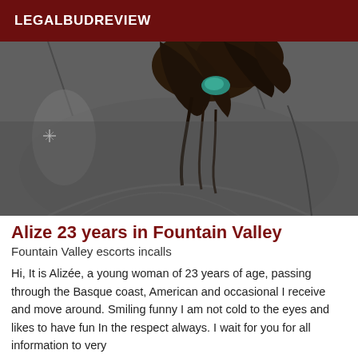LEGALBUDREVIEW
[Figure (photo): Close-up photo of a person wearing dark clothing, with dark hair visible, shot from an angle showing back/shoulder area against a gray upholstered background.]
Alize 23 years in Fountain Valley
Fountain Valley escorts incalls
Hi, It is Alizée, a young woman of 23 years of age, passing through the Basque coast, American and occasional I receive and move around. Smiling funny I am not cold to the eyes and likes to have fun In the respect always. I wait for you for all information to very